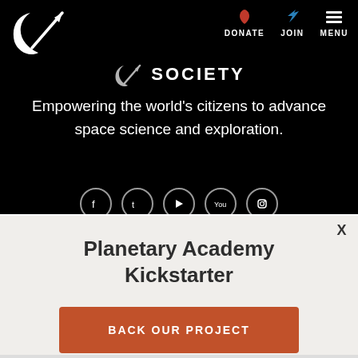[Figure (logo): Planetary Society logo: white crescent and arrow rocket symbol on black background]
DONATE  JOIN  MENU
SOCIETY
Empowering the world's citizens to advance space science and exploration.
[Figure (other): Row of five circular social media icons (Facebook, Twitter, YouTube, and others) on black background]
X
Planetary Academy Kickstarter
[Figure (other): Orange button with text BACK OUR PROJECT]